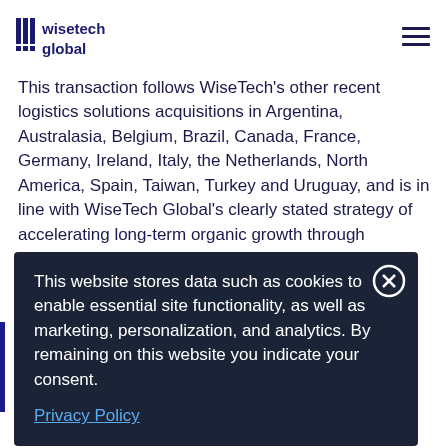WiseTech Global logo and navigation
This transaction follows WiseTech's other recent logistics solutions acquisitions in Argentina, Australasia, Belgium, Brazil, Canada, France, Germany, Ireland, Italy, the Netherlands, North America, Spain, Taiwan, Turkey and Uruguay, and is in line with WiseTech Global's clearly stated strategy of accelerating long-term organic growth through targeted, valuable acquisitions.
This website stores data such as cookies to enable essential site functionality, as well as marketing, personalization, and analytics. By remaining on this website you indicate your consent.
Privacy Policy
provider of industry of the world's cluding 33 of the top 50 global third party logistics providers and